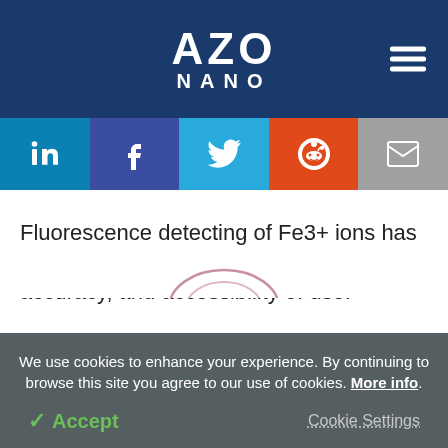AZO NANO
[Figure (logo): AZO NANO website logo with hamburger menu icon on dark blue background]
[Figure (infographic): Social media sharing bar with LinkedIn, Facebook, Twitter, Reddit, and Email icons]
Fluorescence detecting of Fe3+ ions has a lot of benefits, including high specificity, accuracy, and accessibility of use.
We use cookies to enhance your experience. By continuing to browse this site you agree to our use of cookies. More info.
Accept   Cookie Settings